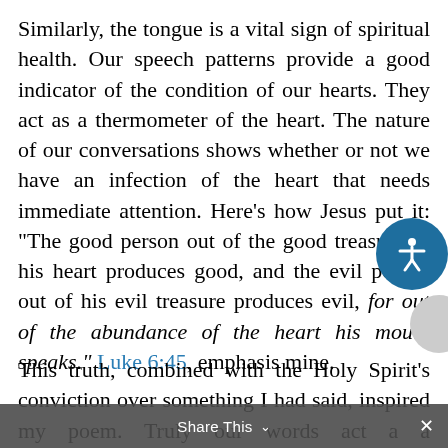Similarly, the tongue is a vital sign of spiritual health. Our speech patterns provide a good indicator of the condition of our hearts. They act as a thermometer of the heart. The nature of our conversations shows whether or not we have an infection of the heart that needs immediate attention. Here’s how Jesus put it: “The good person out of the good treasure of his heart produces good, and the evil person out of his evil treasure produces evil, for out of the abundance of the heart his mouth speaks.” Luke 6:45, emphasis mine.
This truth, combined with the Holy Spirit’s conviction over something I had said, inspired my poem. Truly our words act a a thermometer of the heart. May we be tuned to God’s word and with
Share This